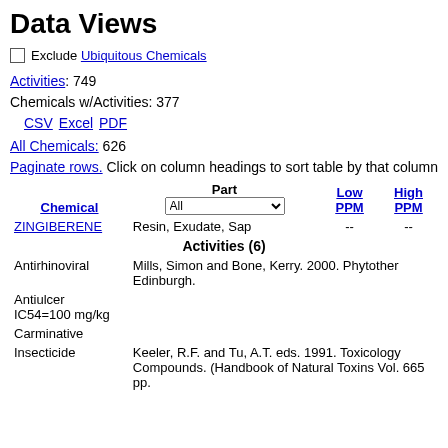Data Views
Exclude Ubiquitous Chemicals
Activities: 749
Chemicals w/Activities: 377
CSV Excel PDF
All Chemicals: 626
Paginate rows. Click on column headings to sort table by that column
| Chemical | Part | Low PPM | High PPM |
| --- | --- | --- | --- |
| ZINGIBERENE | Resin, Exudate, Sap | -- | -- |
| Activities (6) |  |  |  |
| Antirhinoviral | Mills, Simon and Bone, Kerry. 2000. Phytother Edinburgh. |  |  |
| Antiulcer IC54=100 mg/kg |  |  |  |
| Carminative |  |  |  |
| Insecticide | Keeler, R.F. and Tu, A.T. eds. 1991. Toxicology Compounds. (Handbook of Natural Toxins Vol. 665 pp. |  |  |